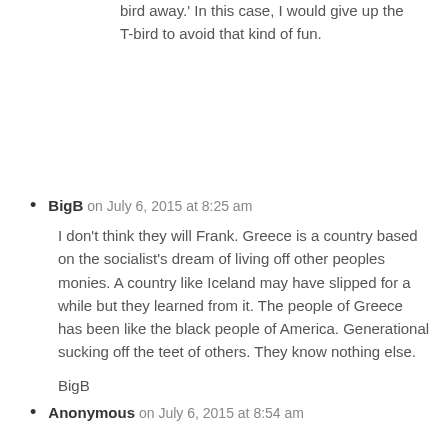bird away.' In this case, I would give up the T-bird to avoid that kind of fun.
BigB on July 6, 2015 at 8:25 am
I don't think they will Frank. Greece is a country based on the socialist's dream of living off other peoples monies. A country like Iceland may have slipped for a while but they learned from it. The people of Greece has been like the black people of America. Generational sucking off the teet of others. They know nothing else.
BigB
Anonymous on July 6, 2015 at 8:54 am